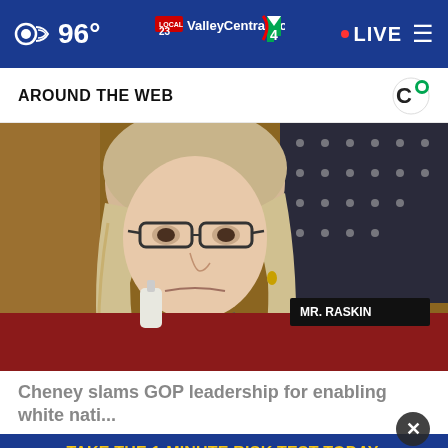96° | ValleyCentral.com | 23 | 4 | LIVE
AROUND THE WEB
[Figure (photo): Woman with blonde hair and dark-rimmed glasses seated at what appears to be a congressional hearing, looking serious. A nameplate reading 'MR. RASKIN' is visible in the background. American flag with stars visible in background.]
Cheney slams GOP leadership for enabling white nati...
TAKE THE 1-MINUTE RISK TEST TODAY. DoIHavePrediabetes.org
[Figure (photo): Partial photo visible at bottom of page]